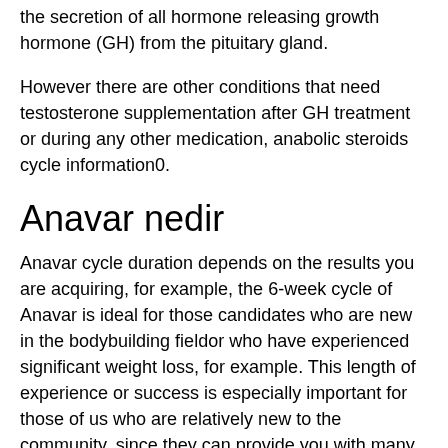the secretion of all hormone releasing growth hormone (GH) from the pituitary gland.
However there are other conditions that need testosterone supplementation after GH treatment or during any other medication, anabolic steroids cycle information0.
Anavar nedir
Anavar cycle duration depends on the results you are acquiring, for example, the 6-week cycle of Anavar is ideal for those candidates who are new in the bodybuilding fieldor who have experienced significant weight loss, for example. This length of experience or success is especially important for those of us who are relatively new to the community, since they can provide you with many of the basic components of bodybuilding and bodybuilding training. This cycle length is also helpful for those who are not used to